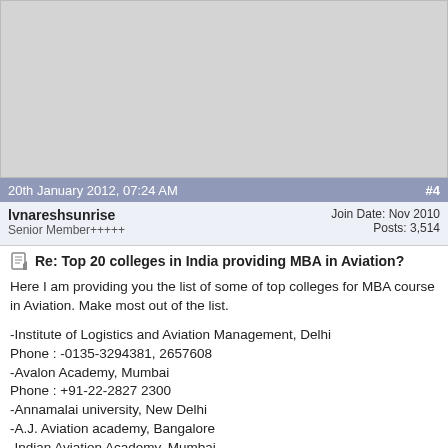[Figure (other): Gray advertisement/banner placeholder area at top of forum page]
20th January 2012, 07:24 AM	#4
lvnareshsunrise
Senior Member+++++
Join Date: Nov 2010
Posts: 3,514
Re: Top 20 colleges in India providing MBA in Aviation?
Here I am providing you the list of some of top colleges for MBA course in Aviation. Make most out of the list.

-Institute of Logistics and Aviation Management, Delhi
Phone : -0135-3294381, 2657608

-Avalon Academy, Mumbai
Phone : +91-22-2827 2300

-Annamalai university, New Delhi
-A.J. Aviation academy, Bangalore
-Indian Aviation Academy, Mumbai